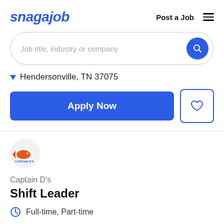snagajob   Post a Job
Job title, industry or company
Hendersonville, TN 37075
Apply Now
[Figure (logo): Captain D's fish restaurant logo — orange fish with text CAPTAIN D'S]
Captain D's
Shift Leader
Full-time, Part-time